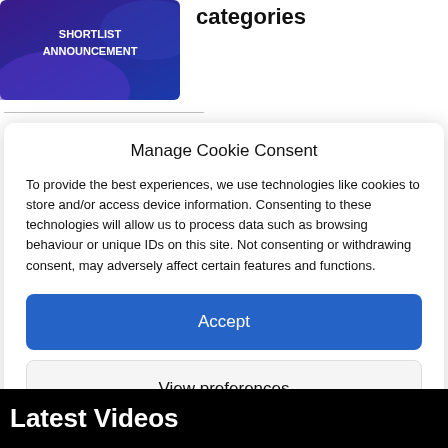[Figure (screenshot): Purple/blue promotional card with 'SHORTLIST ANNOUNCEMENT' text]
categories
Manage Cookie Consent
To provide the best experiences, we use technologies like cookies to store and/or access device information. Consenting to these technologies will allow us to process data such as browsing behaviour or unique IDs on this site. Not consenting or withdrawing consent, may adversely affect certain features and functions.
Accept
View preferences
Cookie Policy   Privacy Statement
Latest Videos